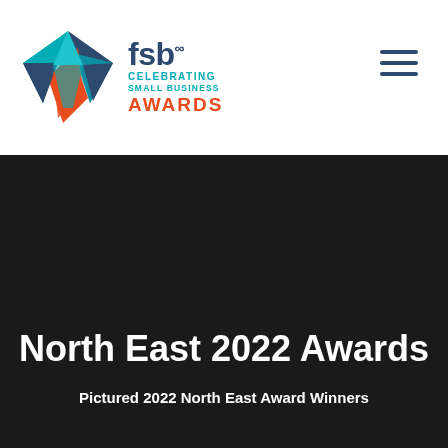[Figure (logo): FSB Celebrating Small Business Awards logo with a multi-colored star (teal, navy, red) on the left, and text 'fsb' in navy with infinity symbol superscript, 'CELEBRATING SMALL BUSINESS AWARDS' in teal and red on the right]
[Figure (other): Hamburger menu icon with three horizontal dark navy lines]
North East 2022 Awards
Pictured 2022 North East Award Winners